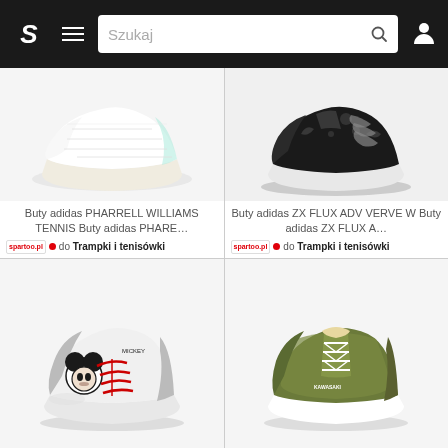S  ≡  Szukaj  🔍  👤
[Figure (photo): White Adidas Pharrell Williams Tennis sneaker on white background]
Buty adidas PHARRELL WILLIAMS TENNIS Buty adidas PHARE…
Spartoo • do Trampki i tenisówki
[Figure (photo): Black Adidas ZX Flux ADV Verve W sneaker on white background]
Buty adidas ZX FLUX ADV VERVE W Buty adidas ZX FLUX A…
Spartoo • do Trampki i tenisówki
[Figure (photo): White Mickey Mouse themed sneaker with red laces]
[Figure (photo): Olive green canvas sneaker with white laces]